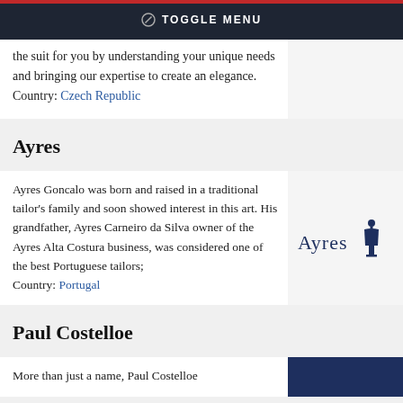TOGGLE MENU
the suit for you by understanding your unique needs and bringing our expertise to create an elegance.
Country: Czech Republic
Ayres
Ayres Goncalo was born and raised in a traditional tailor's family and soon showed interest in this art. His grandfather, Ayres Carneiro da Silva owner of the Ayres Alta Costura business, was considered one of the best Portuguese tailors;
Country: Portugal
[Figure (logo): Ayres logo with a mannequin figure icon in dark navy blue]
Paul Costelloe
More than just a name, Paul Costelloe